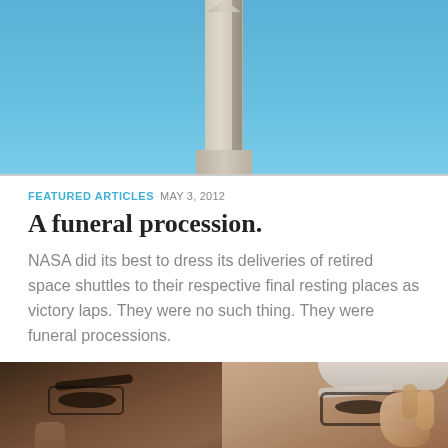[Figure (photo): Photo of the Washington Monument against a blue sky, cropped to show upper portion of the obelisk]
FEATURED ARTICLES  MAY 3, 2012
A funeral procession.
NASA did its best to dress its deliveries of retired space shuttles to their respective final resting places as victory laps. They were no such thing. They were funeral processions.
[Figure (photo): Close-up photo of two men's faces, cropped at forehead/eye level; left man is younger adjusting glasses, right man is older with white hair adjusting glasses]